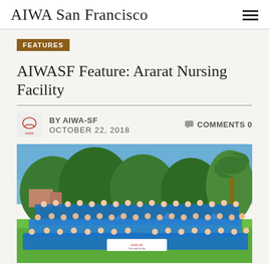AIWA San Francisco
FEATURES
AIWASF Feature: Ararat Nursing Facility
BY AIWA-SF  OCTOBER 22, 2018  COMMENTS 0
[Figure (photo): Large group photo of nursing facility staff in blue uniforms posing outdoors on green grass with trees and blue sky in background, holding an AIWA banner]